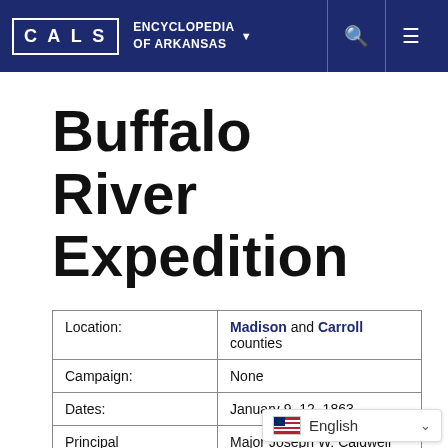CALS ENCYCLOPEDIA OF ARKANSAS
Buffalo River Expedition
| Location: | Madison and Carroll counties |
| Campaign: | None |
| Dates: | January 9–12, 1863 |
| Principal Commanders: | Major Joseph W. Caldwell (US); |